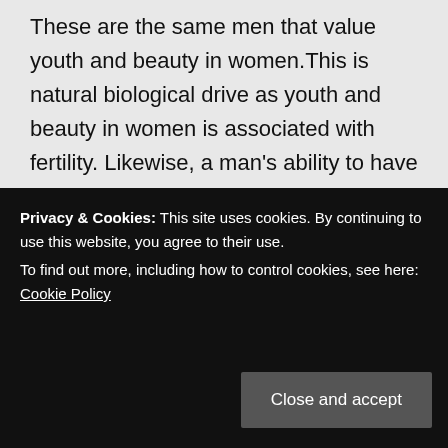These are the same men that value youth and beauty in women.This is natural biological drive as youth and beauty in women is associated with fertility. Likewise, a man's ability to have a steady income is associated with virility. Of course, it is about money for women.It is perfectly natural for a woman to be concerned about whether her intended has an income. After all, she will be unable to work and earn an income during late
Privacy & Cookies: This site uses cookies. By continuing to use this website, you agree to their use. To find out more, including how to control cookies, see here: Cookie Policy
Close and accept
Only a foolish woman or one without sane